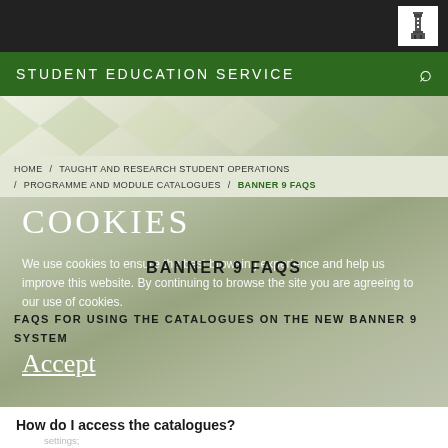STUDENT EDUCATION SERVICE
HOME / TAUGHT AND RESEARCH STUDENT OPERATIONS / PROGRAMME AND MODULE CATALOGUES / BANNER 9 FAQS
COOKIES
We use cookies to ensure the best browsing experience and help us improve this website. By continuing to browse the site you are agreeing to our use of cookies.
BANNER 9 FAQS
FAQS FOR USING THE CATALOGUES ON THE NEW BANNER 9 SYSTEM
Accept
How do I access the catalogues?
You will now access the catalogues from inside Banner. Type